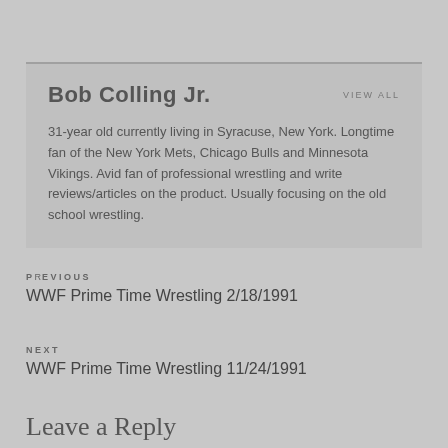Bob Colling Jr.
VIEW ALL
31-year old currently living in Syracuse, New York. Longtime fan of the New York Mets, Chicago Bulls and Minnesota Vikings. Avid fan of professional wrestling and write reviews/articles on the product. Usually focusing on the old school wrestling.
PRevious
WWF Prime Time Wrestling 2/18/1991
next
WWF Prime Time Wrestling 11/24/1991
Leave a Reply